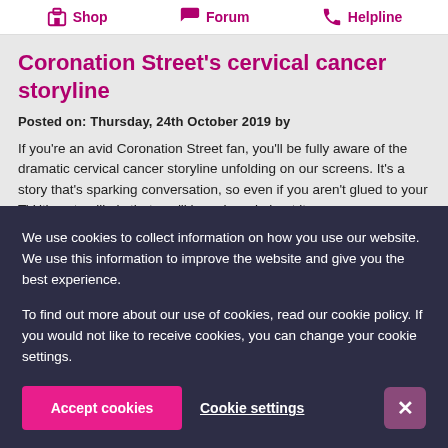Shop  Forum  Helpline
Coronation Street's cervical cancer storyline
Posted on: Thursday, 24th October 2019 by
If you're an avid Coronation Street fan, you'll be fully aware of the dramatic cervical cancer storyline unfolding on our screens. It's a story that's sparking conversation, so even if you aren't glued to your TV it's not unlikely that you'll have heard about it.
We use cookies to collect information on how you use our website. We use this information to improve the website and give you the best experience.
To find out more about our use of cookies, read our cookie policy. If you would not like to receive cookies, you can change your cookie settings.
Accept cookies  Cookie settings  ×